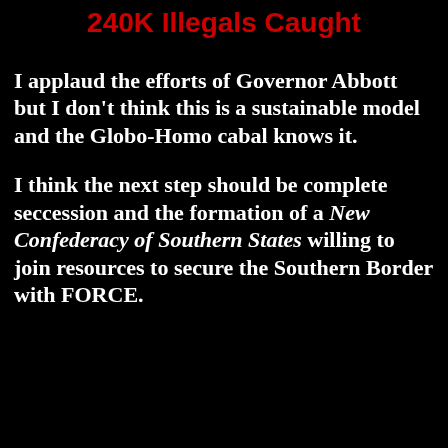240K Illegals Caught
I applaud the efforts of Governor Abbott but I don't think this is a sustainable model and the Globo-Homo cabal knows it.
I think the next step should be complete seccession and the formation of a New Confederacy of Southern States willing to join resources to secure the Southern Border with FORCE.